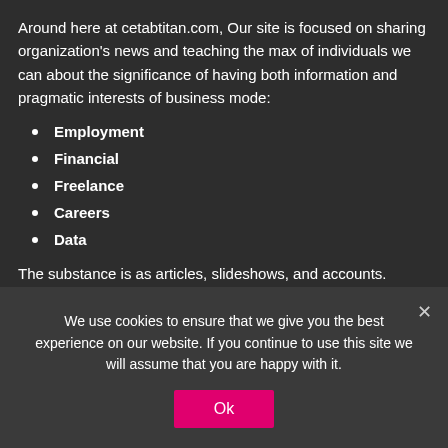Around here at cetabtitan.com, Our site is focused on sharing organization's news and teaching the max of individuals we can about the significance of having both information and pragmatic interests of business mode:
Employment
Financial
Freelance
Careers
Data
The substance is as articles, slideshows, and accounts. Accepting you
We use cookies to ensure that we give you the best experience on our website. If you continue to use this site we will assume that you are happy with it.